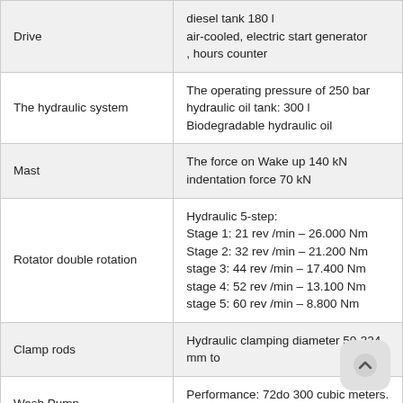| Feature | Specification |
| --- | --- |
| Drive | diesel tank 180 l
air-cooled, electric start generator
, hours counter |
| The hydraulic system | The operating pressure of 250 bar
hydraulic oil tank: 300 l
Biodegradable hydraulic oil |
| Mast | The force on Wake up 140 kN
indentation force 70 kN |
| Rotator double rotation | Hydraulic 5-step:
Stage 1: 21 rev /min – 26.000 Nm
Stage 2: 32 rev /min – 21.200 Nm
stage 3: 44 rev /min – 17.400 Nm
stage 4: 52 rev /min – 13.100 Nm
stage 5: 60 rev /min – 8.800 Nm |
| Clamp rods | Hydraulic clamping diameter 50-324 mm to |
| Wash Pump | Performance: 72do 300 cubic meters. /hr |